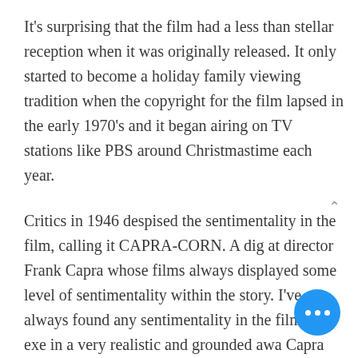It's surprising that the film had a less than stellar reception when it was originally released. It only started to become a holiday family viewing tradition when the copyright for the film lapsed in the early 1970's and it began airing on TV stations like PBS around Christmastime each year.
Critics in 1946 despised the sentimentality in the film, calling it CAPRA-CORN. A dig at director Frank Capra whose films always displayed some level of sentimentality within the story. I've always found any sentimentality in the film to be exe in a very realistic and grounded awa Capra doesn't take anything too far...